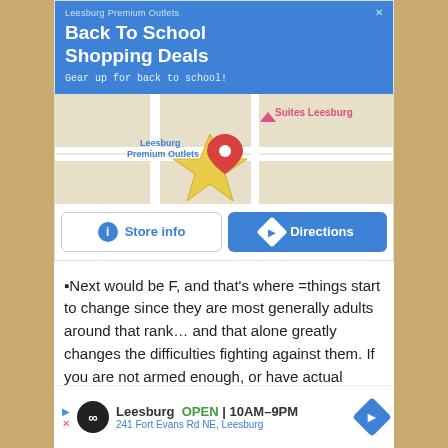[Figure (screenshot): Google ad card for Leesburg Premium Outlets with blue header showing 'Back To School Shopping Deals', map thumbnail, Store info and Directions buttons]
Next would be F, and that's where =things start to change since they are most generally adults around that rank… and that alone greatly changes the difficulties fighting against them. If you are not armed enough, or have actual tactics on how to face them, then it would be really dangerous.
[Figure (screenshot): Bottom banner ad for Leesburg Premium Outlets showing OPEN 10AM-9PM, 241 Fort Evans Rd NE, Leesburg with directions diamond icon]